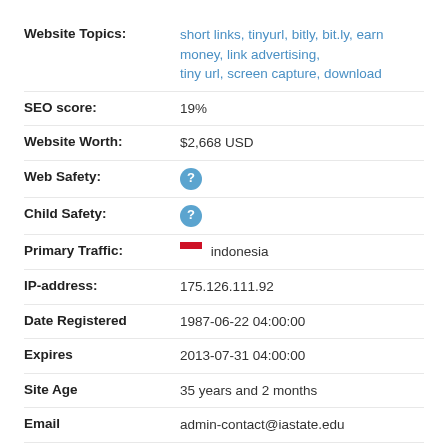Website Topics: short links, tinyurl, bitly, bit.ly, earn money, link advertising, tiny url, screen capture, download
SEO score: 19%
Website Worth: $2,668 USD
Web Safety: ?
Child Safety: ?
Primary Traffic: indonesia
IP-address: 175.126.111.92
Date Registered 1987-06-22 04:00:00
Expires 2013-07-31 04:00:00
Site Age 35 years and 2 months
Email admin-contact@iastate.edu
Owner Iowa State University 291 Durham Center ( Officer Security )
Pageviews per 1